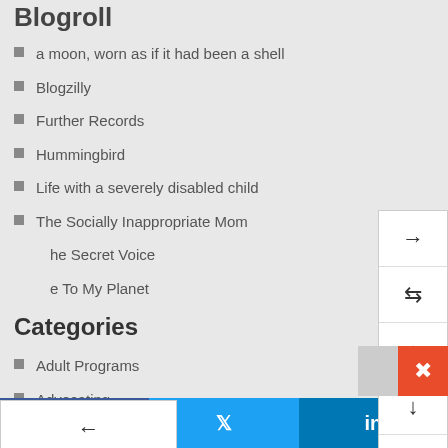Blogroll
a moon, worn as if it had been a shell
Blogzilly
Further Records
Hummingbird
Life with a severely disabled child
The Socially Inappropriate Mom
he Secret Voice
e To My Planet
Categories
Adult Programs
Advocating
Ashley
Communication